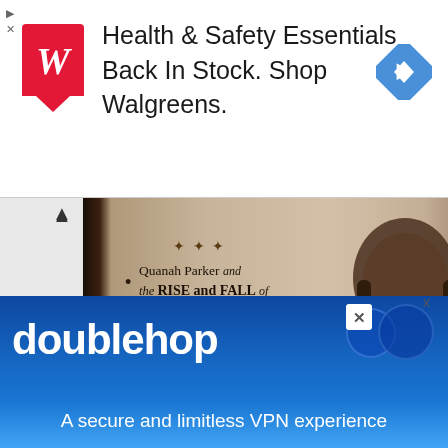[Figure (screenshot): Walgreens advertisement banner: red Walgreens logo with 'W', text 'Health & Safety Essentials Back In Stock. Shop Walgreens.' with a blue navigation diamond icon on the right]
[Figure (photo): Book cover of 'Empire of the Summer Moon' showing Quanah Parker and the Rise and Fall of the Comanches, the Most Powerful Indian Tribe in American History. Features a sepia-toned historical photograph of a Native American man with long braids and a quote from The New York Times Book Review.]
[Figure (screenshot): doublehop advertisement: blue gradient background with 'doublehop' text in white bold letters, decorative circles, X close button, and tagline 'A secure and limitless VPN experience']